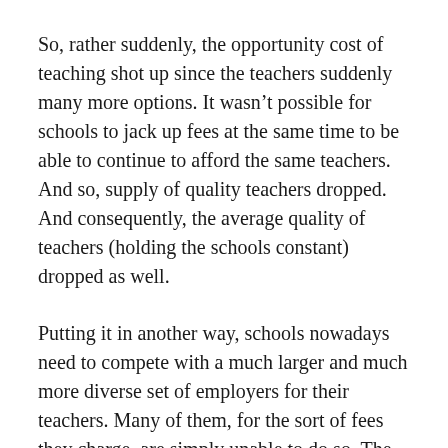So, rather suddenly, the opportunity cost of teaching shot up since the teachers suddenly many more options. It wasn't possible for schools to jack up fees at the same time to be able to continue to afford the same teachers. And so, supply of quality teachers dropped. And consequently, the average quality of teachers (holding the schools constant) dropped as well.
Putting it in another way, schools nowadays need to compete with a much larger and much more diverse set of employers for their teachers. Many of them, for the sort of fees they charge, are simply unable to do so. The “passionate bunch” has found other avenues